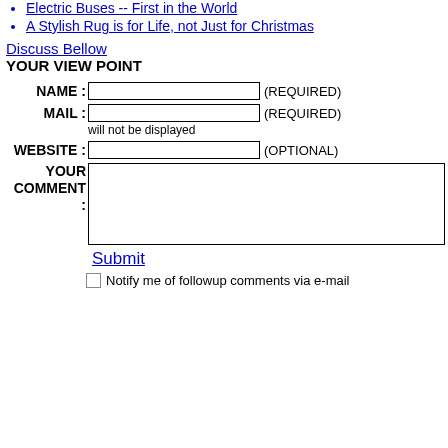Electric Buses -- First in the World
A Stylish Rug is for Life, not Just for Christmas
Discuss Bellow
YOUR VIEW POINT
NAME : (REQUIRED)
MAIL : (REQUIRED) will not be displayed
WEBSITE : (OPTIONAL)
YOUR COMMENT :
Submit
Notify me of followup comments via e-mail